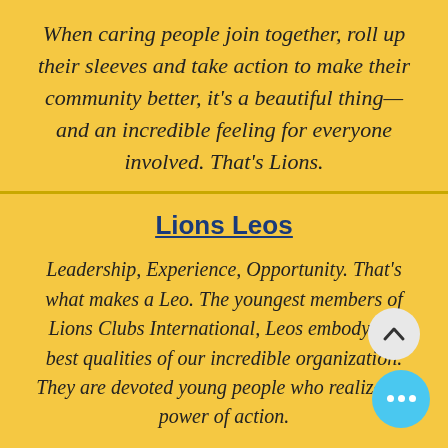When caring people join together, roll up their sleeves and take action to make their community better, it's a beautiful thing—and an incredible feeling for everyone involved. That's Lions.
Lions Leos
Leadership, Experience, Opportunity. That's what makes a Leo. The youngest members of Lions Clubs International, Leos embody the best qualities of our incredible organization. They are devoted young people who realize the power of action.